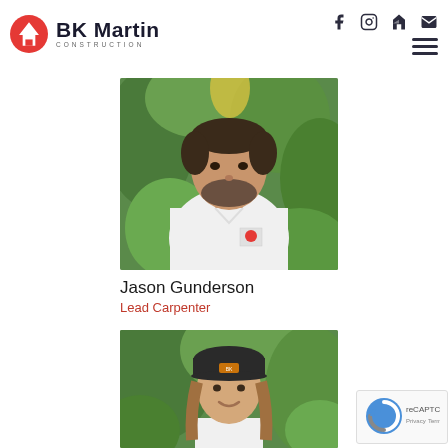BK Martin CONSTRUCTION — header with social icons (Facebook, Instagram, Houzz, Email) and hamburger menu
[Figure (photo): Headshot of Jason Gunderson, a bearded man in a white BK Martin t-shirt, standing in front of green foliage]
Jason Gunderson
Lead Carpenter
[Figure (photo): Headshot of a young man wearing a dark baseball cap and white shirt, smiling, standing in front of green foliage]
[Figure (other): Google reCAPTCHA badge with Privacy and Terms links]